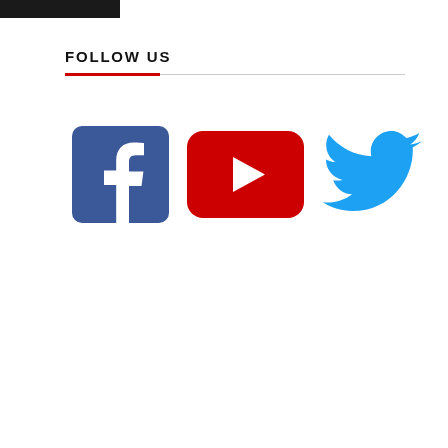[logo/header bar]
FOLLOW US
[Figure (logo): Facebook logo - blue rounded square with white lowercase f]
[Figure (logo): YouTube logo - red rounded rectangle with white play button triangle]
[Figure (logo): Twitter logo - blue bird icon]